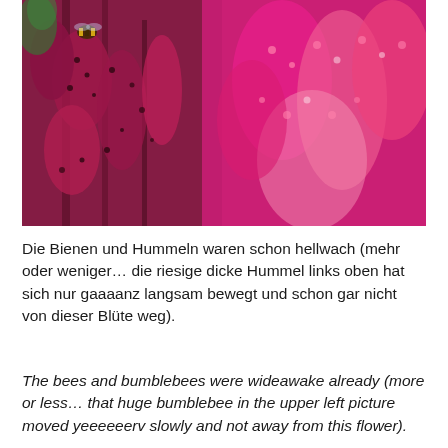[Figure (photo): Close-up photograph of vibrant pink/magenta flowering plant clusters (likely amaranth or similar), with a bumblebee visible in the upper left area of the image.]
Die Bienen und Hummeln waren schon hellwach (mehr oder weniger… die riesige dicke Hummel links oben hat sich nur gaaaanz langsam bewegt und schon gar nicht von dieser Blüte weg).
The bees and bumblebees were wideawake already (more or less… that huge bumblebee in the upper left picture moved yeeeeeerv slowly and not away from this flower).